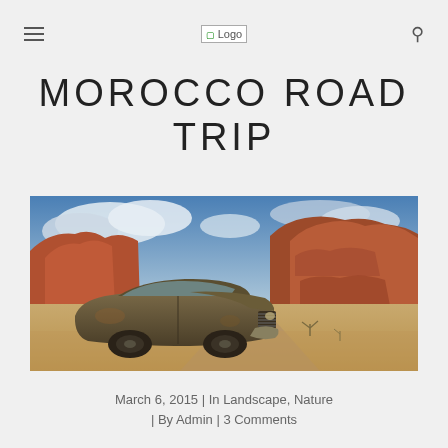≡  Logo  🔍
MOROCCO ROAD TRIP
[Figure (photo): Vintage rusted car abandoned in a desert landscape with dramatic red rock formations and cloudy blue sky in the background. Slideshow with left and right navigation arrows.]
March 6, 2015 | In Landscape, Nature | By Admin | 3 Comments